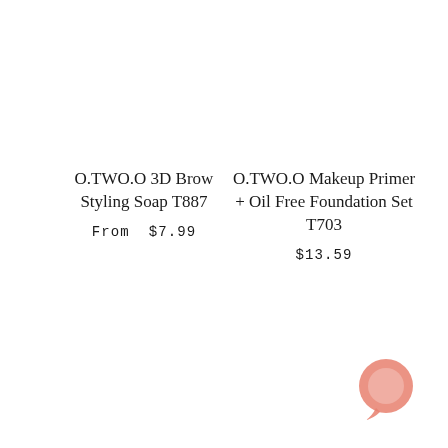O.TWO.O 3D Brow Styling Soap T887
From  $7.99
O.TWO.O Makeup Primer + Oil Free Foundation Set T703
$13.59
[Figure (illustration): Pink/salmon colored chat bubble icon in the bottom right corner]